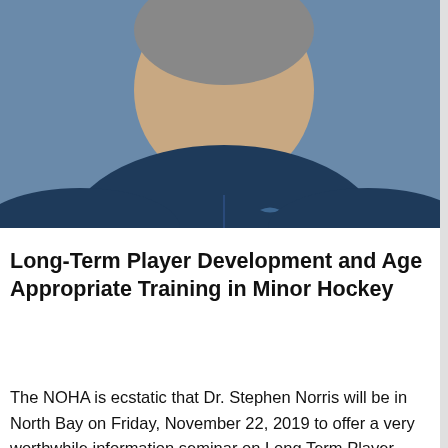[Figure (photo): Partial photo of a person wearing a dark blue athletic shirt, cropped to show upper body and face from below, with a light background.]
Long-Term Player Development and Age Appropriate Training in Minor Hockey
The NOHA is ecstatic that Dr. Stephen Norris will be in North Bay on Friday, November 22, 2019 to offer a very worthwhile information seminar on Long Term Player Development and Age Appropriate Training in Minor Hockey. The information session will begin at 7:00 p.m. on November 22 and will be held in the upstairs hall at the West Ferris Arena in North Bay. The session will last approximately 90 minutes and is FREE to